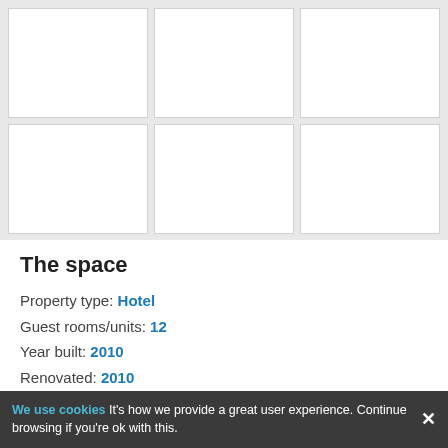[Figure (photo): 2x3 grid of hotel room photo placeholders (white rectangles on gray background)]
The space
Property type: Hotel
Guest rooms/units: 12
Year built: 2010
Renovated: 2010
Public classification: 1★
Hotel accommodations
Lowest price available: INR 1,500 (Indian Rupee)
Single Room ✦ Suite Double Room
We use cookies It's how we provide a great user experience. Continue browsing if you're ok with this.